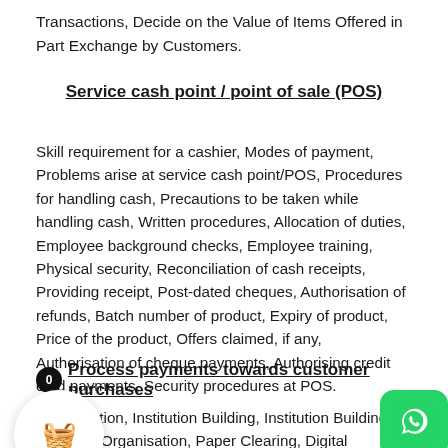Transactions, Decide on the Value of Items Offered in Part Exchange by Customers.
Service cash point / point of sale (POS)
Skill requirement for a cashier, Modes of payment, Problems arise at service cash point/POS, Procedures for handling cash, Precautions to be taken while handling cash, Written procedures, Allocation of duties, Employee background checks, Employee training, Physical security, Reconciliation of cash receipts, Providing receipt, Post-dated cheques, Authorisation of refunds, Batch number of product, Expiry of product, Price of the product, Offers claimed, if any, Authorisation of cheque payments, Authorising credit card payments, Security procedures at POS.
Process payments towards customer purchases
, Introduction, Institution Building, Institution Building, Umbrella Organisation, Paper Clearing, Digital Payments Enabler,